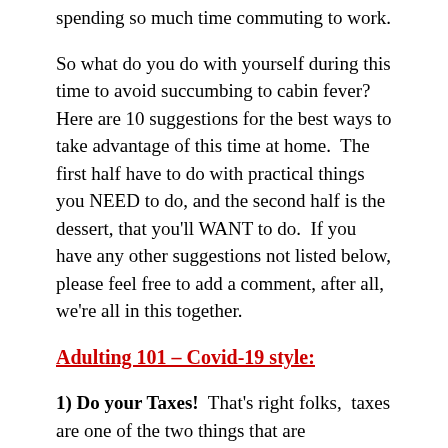spending so much time commuting to work.
So what do you do with yourself during this time to avoid succumbing to cabin fever?  Here are 10 suggestions for the best ways to take advantage of this time at home.  The first half have to do with practical things you NEED to do, and the second half is the dessert, that you'll WANT to do.  If you have any other suggestions not listed below, please feel free to add a comment, after all, we're all in this together.
Adulting 101 – Covid-19 style:
1) Do your Taxes!  That's right folks,  taxes are one of the two things that are guaranteed.  Despite politicians talking about possibly postponing that April 15th deadline, so far it hasn't happened.  So, make sure to get a jump on this, especially if your